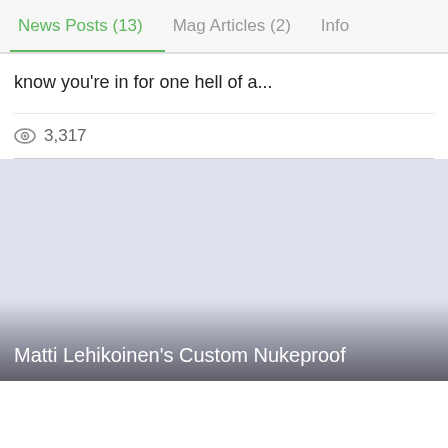News Posts (13)  Mag Articles (2)  Info
know you're in for one hell of a...
👁 3,317
[Figure (photo): Light blue-gray background image card with caption overlay at bottom reading 'Matti Lehikoinen's Custom Nukeproof']